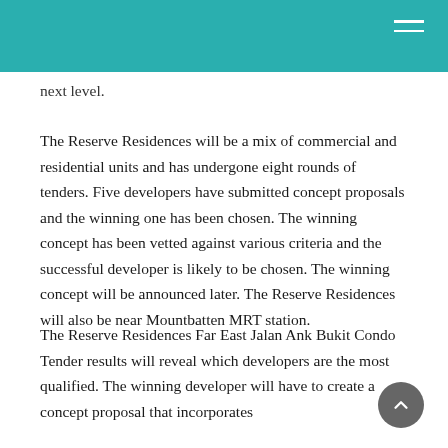next level.
The Reserve Residences will be a mix of commercial and residential units and has undergone eight rounds of tenders. Five developers have submitted concept proposals and the winning one has been chosen. The winning concept has been vetted against various criteria and the successful developer is likely to be chosen. The winning concept will be announced later. The Reserve Residences will also be near Mountbatten MRT station.
The Reserve Residences Far East Jalan Ank Bukit Condo Tender results will reveal which developers are the most qualified. The winning developer will have to create a concept proposal that incorporates